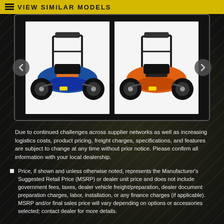VIEW SIMILAR MODELS
[Figure (photo): Carousel showing two go-kart/off-road buggy vehicles side by side. Left: blue go-kart buggy. Right: orange go-kart buggy. Left and right navigation arrows on either side.]
Due to continued challenges across supplier networks as well as increasing logistics costs, product pricing, freight charges, specifications, and features are subject to change at any time without prior notice. Please confirm all information with your local dealership.
Price, if shown and unless otherwise noted, represents the Manufacturer's Suggested Retail Price (MSRP) or dealer unit price and does not include government fees, taxes, dealer vehicle freight/preparation, dealer document preparation charges, labor, installation, or any finance charges (if applicable). MSRP and/or final sales price will vary depending on options or accessories selected; contact dealer for more details.